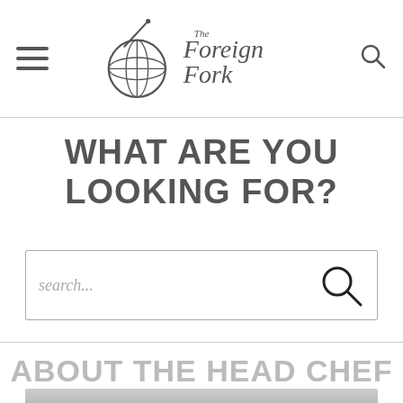The Foreign Fork
WHAT ARE YOU LOOKING FOR?
[Figure (other): Search input box with placeholder text 'search...' and a magnifying glass search icon on the right]
ABOUT THE HEAD CHEF
[Figure (photo): Partial photo strip at bottom of page]